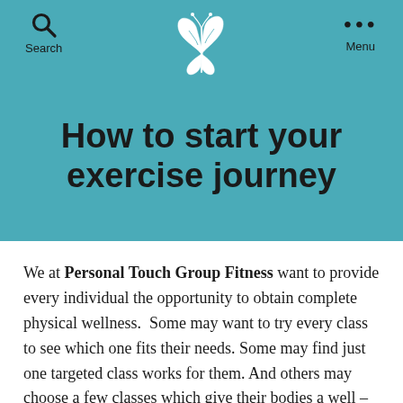Search | [butterfly logo] | Menu
How to start your exercise journey
We at Personal Touch Group Fitness want to provide every individual the opportunity to obtain complete physical wellness.  Some may want to try every class to see which one fits their needs. Some may find just one targeted class works for them. And others may choose a few classes which give their bodies a well – rounded